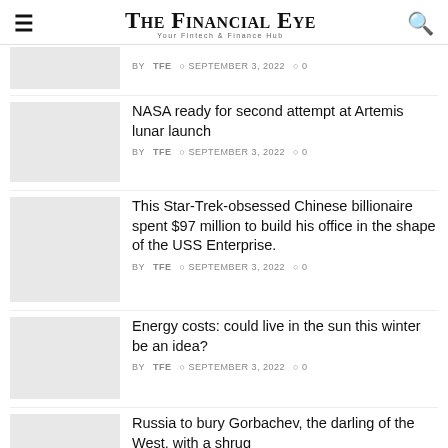The Financial Eye — Your Fintech & Finance Hub
BY TFE  SEPTEMBER 3, 2022  0
NASA ready for second attempt at Artemis lunar launch
BY TFE  SEPTEMBER 3, 2022  0
This Star-Trek-obsessed Chinese billionaire spent $97 million to build his office in the shape of the USS Enterprise.
BY TFE  SEPTEMBER 3, 2022  0
Energy costs: could live in the sun this winter be an idea?
BY TFE  SEPTEMBER 3, 2022  0
Russia to bury Gorbachev, the darling of the West, with a shrug
BY TFE  SEPTEMBER 3, 2022  0